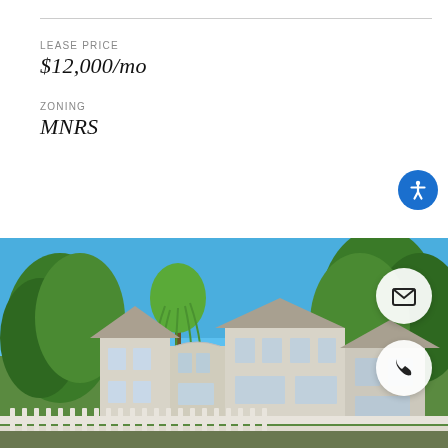LEASE PRICE
$12,000/mo
ZONING
MNRS
[Figure (photo): Exterior photo of a large residential house with white siding, multiple windows, surrounded by large green trees under a bright blue sky. White fence in the foreground.]